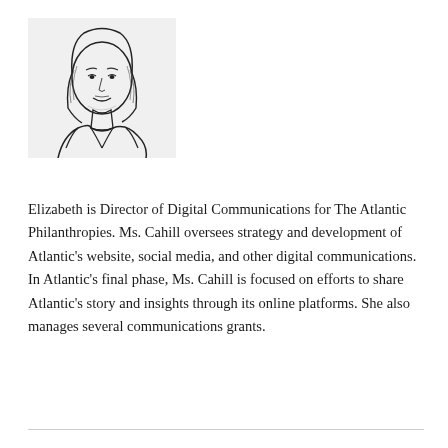[Figure (illustration): Line-art illustration portrait of a woman with straight shoulder-length hair, smiling, wearing a jacket]
Elizabeth is Director of Digital Communications for The Atlantic Philanthropies. Ms. Cahill oversees strategy and development of Atlantic's website, social media, and other digital communications. In Atlantic's final phase, Ms. Cahill is focused on efforts to share Atlantic's story and insights through its online platforms. She also manages several communications grants.